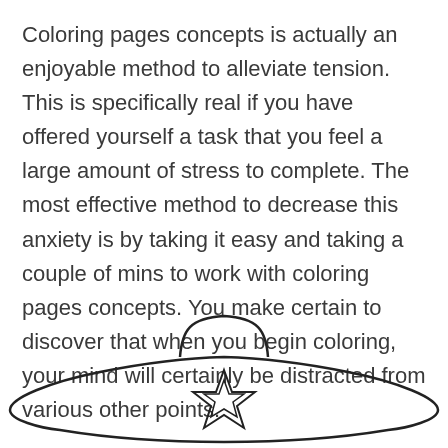Coloring pages concepts is actually an enjoyable method to alleviate tension. This is specifically real if you have offered yourself a task that you feel a large amount of stress to complete. The most effective method to decrease this anxiety is by taking it easy and taking a couple of mins to work with coloring pages concepts. You make certain to discover that when you begin coloring, your mind will certainly be distracted from various other points.
[Figure (illustration): A coloring page illustration showing a wide hat or cap shape with a star outline in the center, drawn with simple black outlines on white background.]